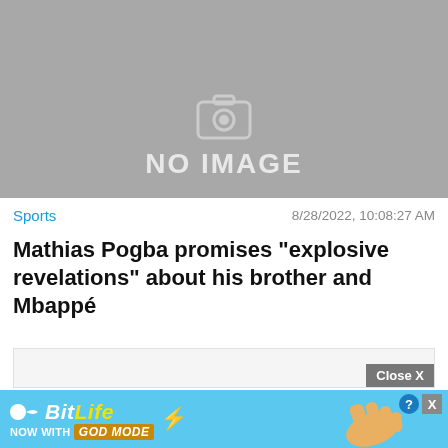[Figure (illustration): Gray placeholder image with 'NO IMAGE' text and a camera icon]
Sports
8/28/2022, 10:08:27 AM
Mathias Pogba promises "explosive revelations" about his brother and Mbappé
[Figure (other): Empty light gray content/ad placeholder box with a 'Close X' button in the bottom right corner]
[Figure (illustration): BitLife advertisement banner: 'NOW WITH GOD MODE' on blue background with hand/fingers graphic, question mark icon, and close X button]